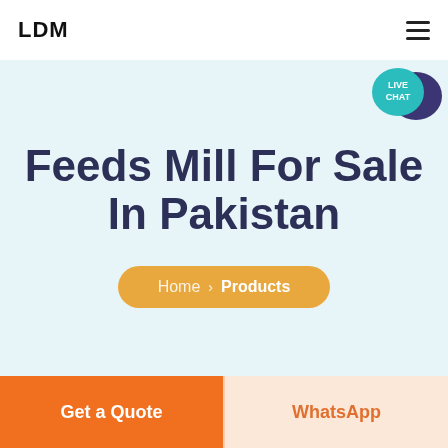LDM
Feeds Mill For Sale In Pakistan
Home > Products
[Figure (other): Live Chat speech bubble icon in teal and dark purple]
Get a Quote
WhatsApp